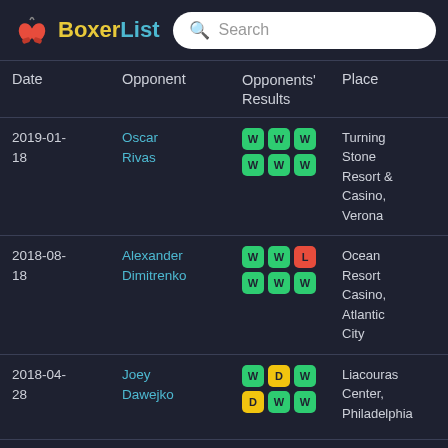BoxerList
| Date | Opponent | Opponents' Results | Place | Result |
| --- | --- | --- | --- | --- |
| 2019-01-18 | Oscar Rivas | W W W / W W W | Turning Stone Resort & Casino, Verona | LOST Technical knockout |
| 2018-08-18 | Alexander Dimitrenko | W W L / W W W | Ocean Resort Casino, Atlantic City | WIN Technical knockout |
| 2018-04-28 | Joey Dawejko | W D W / D W W | Liacouras Center, Philadelphia | WIN Unanimous decision |
| 2018-02-16 | Akhror Muralimov | W W W / L L L | Grand Sierra Resort and Casino, Grand Theatre, Reno | WIN KO |